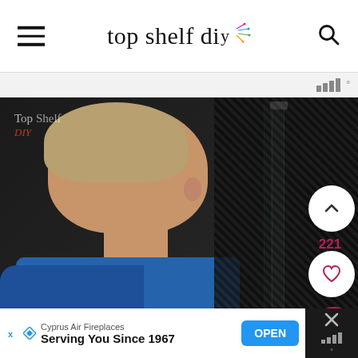top shelf diy
[Figure (photo): Woman in blue top looking closely at a glass panel/fireplace screen in a dark room. Video thumbnail with 'Top Shelf DIY' watermark. Floating action buttons on right: chevron up, heart (221), and pink search button.]
Cyprus Air Fireplaces
Serving You Since 1967